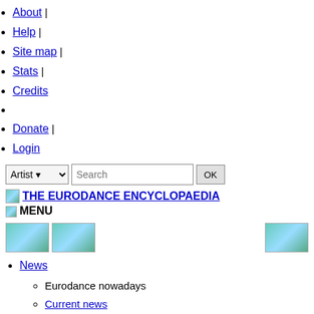About |
Help |
Site map |
Stats |
Credits
Donate |
Login
[Figure (screenshot): Search bar with Artist dropdown, Search text field, and OK button]
[Figure (photo): Small image placeholder]
THE EURODANCE ENCYCLOPAEDIA
MENU
[Figure (photo): Three image thumbnails: Thornton_melan, Pandora, Karma]
News
Eurodance nowadays
Current news
Twitter
10 top eurodance news for 2012
News history
Year 2022